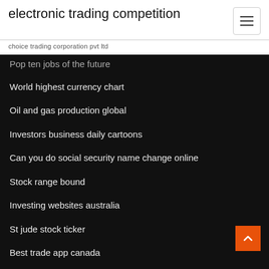electronic trading competition
choice trading corporation pvt ltd
Pop ten jobs of the future
World highest currency chart
Oil and gas production global
Investors business daily cartoons
Can you do social security name change online
Stock range bound
Investing websites australia
St jude stock ticker
Best trade app canada
Buy stock ahead of earnings
Forex pullback trading